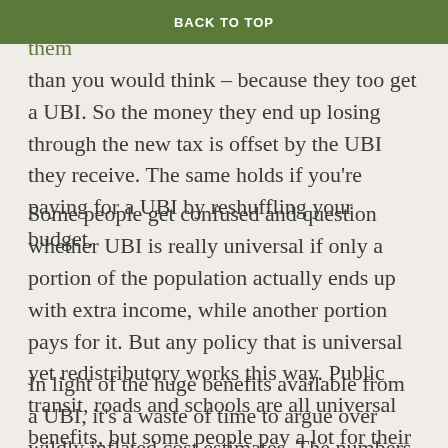BACK TO TOP
executives. And you'd take less away from them than you would think – because they too get a UBI. So the money they end up losing through the new tax is offset by the UBI they receive. The same holds if you're paying for a UBI by reshuffling your budget.
Some people get confused and question whether UBI is really universal if only a portion of the population actually ends up with extra income, while another portion pays for it. But any policy that is universal yet redistributory works this way. Public transit, roads and schools are all universal benefits, but some people pay a lot for their funding through their taxes, while others enjoy them for free or at a lower cost.
In light of the huge benefits available from a UBI, it's a waste of time to argue over wildly inflated cost estimates. The numbers are out there – we can pay for a basic income.